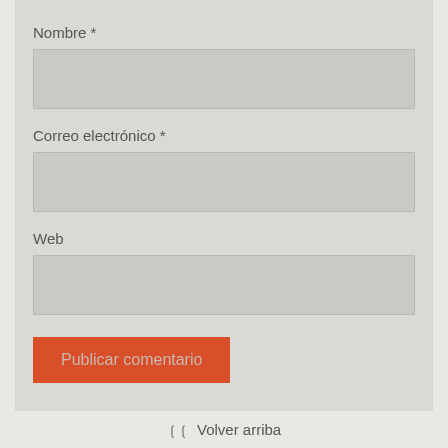Nombre *
[Figure (screenshot): Empty text input field for Nombre]
Correo electrónico *
[Figure (screenshot): Empty text input field for Correo electrónico]
Web
[Figure (screenshot): Empty text input field for Web]
[Figure (screenshot): Red button labeled Publicar comentario]
❮❮ Volver arriba